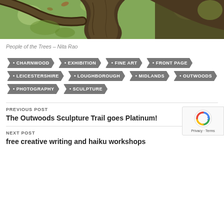[Figure (photo): Close-up photo of tree bark and branches with green foliage in the background, muted natural tones.]
People of the Trees – Nita Rao
CHARNWOOD
EXHIBITION
FINE ART
FRONT PAGE
LEICESTERSHIRE
LOUGHBOROUGH
MIDLANDS
OUTWOODS
PHOTOGRAPHY
SCULPTURE
PREVIOUS POST
The Outwoods Sculpture Trail goes Platinum!
NEXT POST
free creative writing and haiku workshops